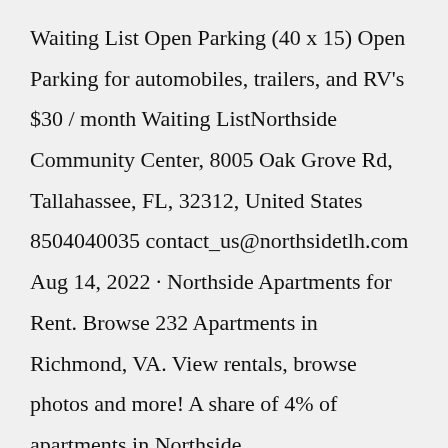Waiting List Open Parking (40 x 15) Open Parking for automobiles, trailers, and RV's $30 / month Waiting ListNorthside Community Center, 8005 Oak Grove Rd, Tallahassee, FL, 32312, United States 8504040035 contact_us@northsidetlh.com Aug 14, 2022 · Northside Apartments for Rent. Browse 232 Apartments in Richmond, VA. View rentals, browse photos and more! A share of 4% of apartments in Northside